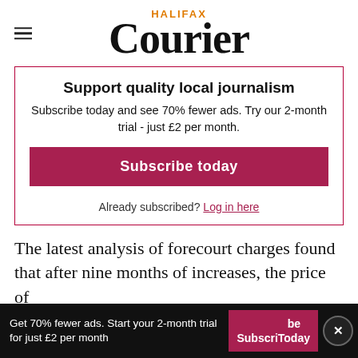Halifax Courier
Support quality local journalism
Subscribe today and see 70% fewer ads. Try our 2-month trial - just £2 per month.
Subscribe today
Already subscribed? Log in here
The latest analysis of forecourt charges found that after nine months of increases, the price of
Get 70% fewer ads. Start your 2-month trial for just £2 per month  Subscribe Today